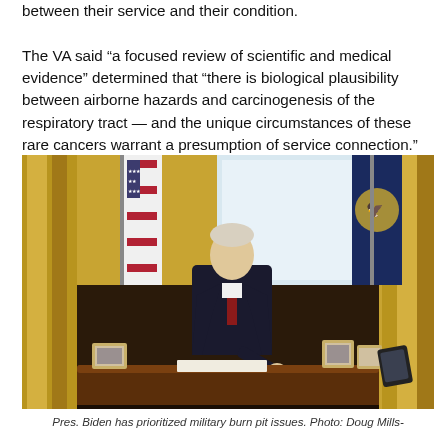between their service and their condition.

The VA said “a focused review of scientific and medical evidence” determined that “there is biological plausibility between airborne hazards and carcinogenesis of the respiratory tract — and the unique circumstances of these rare cancers warrant a presumption of service connection.”
[Figure (photo): President Biden sitting at the Oval Office desk signing documents, wearing a dark suit and red tie. American flag and Presidential seal flag visible in background. Gold drapes and personal photos on desk.]
Pres. Biden has prioritized military burn pit issues. Photo: Doug Mills-